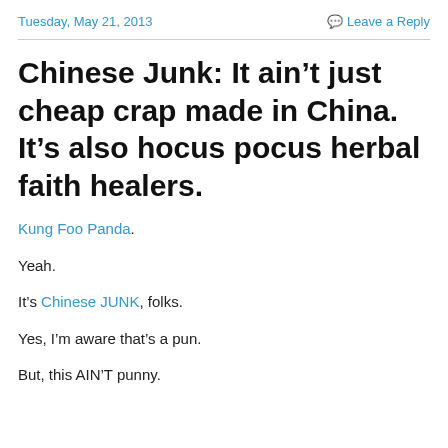Tuesday, May 21, 2013   Leave a Reply
Chinese Junk: It ain't just cheap crap made in China. It's also hocus pocus herbal faith healers.
Kung Foo Panda.
Yeah.
It's Chinese JUNK, folks.
Yes, I'm aware that's a pun.
But, this AIN'T punny.